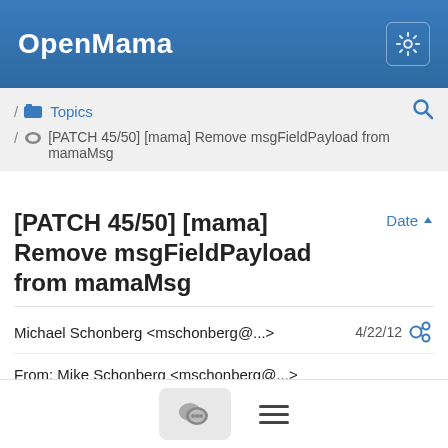OpenMama
/ Topics / [PATCH 45/50] [mama] Remove msgFieldPayload from mamaMsg
[PATCH 45/50] [mama] Remove msgFieldPayload from mamaMsg
Michael Schonberg <mschonberg@...>  4/22/12
From: Mike Schonberg <mschonberg@...>
Signed-off-by: Mike Schonberg <mschonberg@...>
---